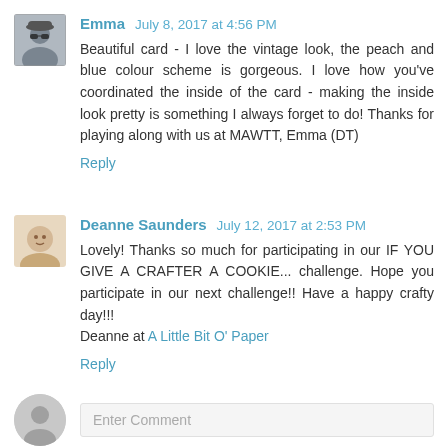Emma  July 8, 2017 at 4:56 PM
Beautiful card - I love the vintage look, the peach and blue colour scheme is gorgeous. I love how you've coordinated the inside of the card - making the inside look pretty is something I always forget to do! Thanks for playing along with us at MAWTT, Emma (DT)
Reply
Deanne Saunders  July 12, 2017 at 2:53 PM
Lovely! Thanks so much for participating in our IF YOU GIVE A CRAFTER A COOKIE... challenge. Hope you participate in our next challenge!! Have a happy crafty day!!!
Deanne at A Little Bit O' Paper
Reply
Enter Comment